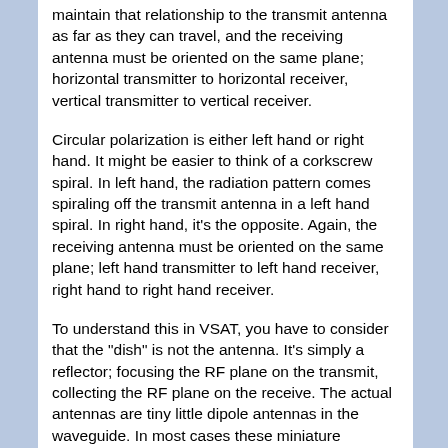maintain that relationship to the transmit antenna as far as they can travel, and the receiving antenna must be oriented on the same plane; horizontal transmitter to horizontal receiver, vertical transmitter to vertical receiver.
Circular polarization is either left hand or right hand. It might be easier to think of a corkscrew spiral. In left hand, the radiation pattern comes spiraling off the transmit antenna in a left hand spiral. In right hand, it's the opposite. Again, the receiving antenna must be oriented on the same plane; left hand transmitter to left hand receiver, right hand to right hand receiver.
To understand this in VSAT, you have to consider that the "dish" is not the antenna. It's simply a reflector; focusing the RF plane on the transmit, collecting the RF plane on the receive. The actual antennas are tiny little dipole antennas in the waveguide. In most cases these miniature antennas are situated at the point where the waveguide attaches; BUC output, and LNB input. It is the orientation of these little antennae that determines horizontal or vertical. In circular, an